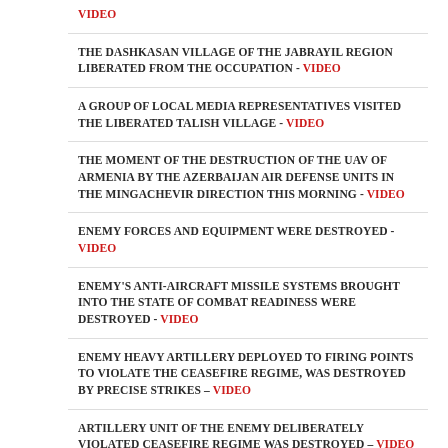VIDEO
THE DASHKASAN VILLAGE OF THE JABRAYIL REGION LIBERATED FROM THE OCCUPATION - VIDEO
A GROUP OF LOCAL MEDIA REPRESENTATIVES VISITED THE LIBERATED TALISH VILLAGE - VIDEO
THE MOMENT OF THE DESTRUCTION OF THE UAV OF ARMENIA BY THE AZERBAIJAN AIR DEFENSE UNITS IN THE MINGACHEVIR DIRECTION THIS MORNING - VIDEO
ENEMY FORCES AND EQUIPMENT WERE DESTROYED - VIDEO
ENEMY'S ANTI-AIRCRAFT MISSILE SYSTEMS BROUGHT INTO THE STATE OF COMBAT READINESS WERE DESTROYED - VIDEO
ENEMY HEAVY ARTILLERY DEPLOYED TO FIRING POINTS TO VIOLATE THE CEASEFIRE REGIME, WAS DESTROYED BY PRECISE STRIKES – VIDEO
ARTILLERY UNIT OF THE ENEMY DELIBERATELY VIOLATED CEASEFIRE REGIME WAS DESTROYED – VIDEO